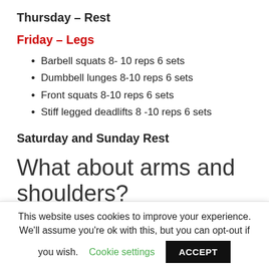Thursday – Rest
Friday – Legs
Barbell squats 8- 10 reps 6 sets
Dumbbell lunges 8-10 reps 6 sets
Front squats 8-10 reps 6 sets
Stiff legged deadlifts 8 -10 reps 6 sets
Saturday and Sunday Rest
What about arms and shoulders?
This website uses cookies to improve your experience. We'll assume you're ok with this, but you can opt-out if you wish. Cookie settings ACCEPT